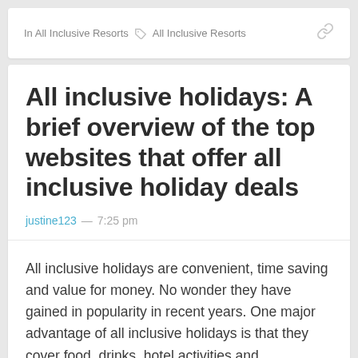In All Inclusive Resorts  All Inclusive Resorts
All inclusive holidays: A brief overview of the top websites that offer all inclusive holiday deals
justine123 — 7:25 pm
All inclusive holidays are convenient, time saving and value for money. No wonder they have gained in popularity in recent years. One major advantage of all inclusive holidays is that they cover food, drinks, hotel activities and entertainment. You get everything in one package. You can also choose from a range of destinations...